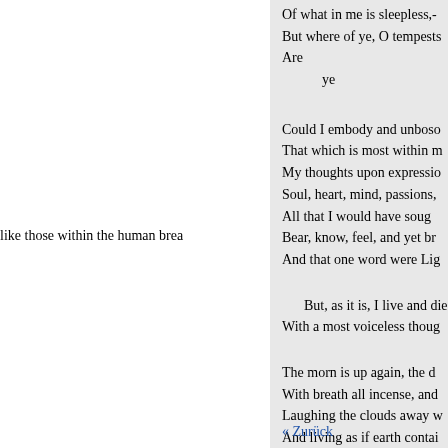Of what in me is sleepless,-
But where of ye, O tempests
Are
    ye
like those within the human brea
Could I embody and unboso
That which is most within m
My thoughts upon expressio
Soul, heart, mind, passions,
All that I would have soug
Bear, know, feel, and yet br
And that one word were Lig
But, as it is, I live and die
With a most voiceless thoug
The morn is up again, the d
With breath all incense, and
Laughing the clouds away w
And living as if earth contai
« Zurück